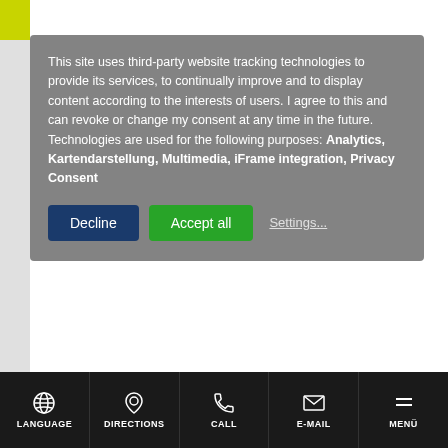[Figure (screenshot): Website cookie consent dialog overlay on a webpage. Gray semi-transparent box with text about third-party tracking technologies, two buttons (Decline in dark blue, Accept all in green), and a Settings link. Below is the white page content area. At the bottom is a black navigation bar with icons and labels: LANGUAGE, DIRECTIONS, CALL, E-MAIL, MENÜ.]
This site uses third-party website tracking technologies to provide its services, to continually improve and to display content according to the interests of users. I agree to this and can revoke or change my consent at any time in the future. Technologies are used for the following purposes: Analytics, Kartendarstellung, Multimedia, iFrame integration, Privacy Consent
Decline | Accept all | Settings...
LANGUAGE | DIRECTIONS | CALL | E-MAIL | MENÜ